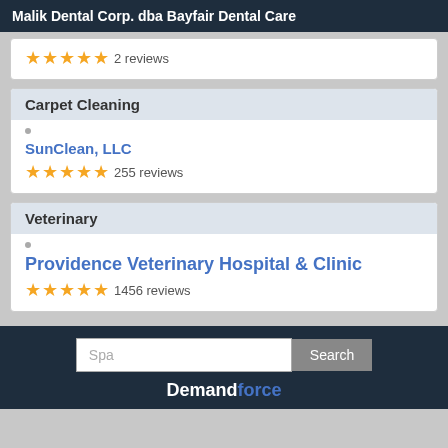Malik Dental Corp. dba Bayfair Dental Care
★★★★★ 2 reviews
Carpet Cleaning
SunClean, LLC
★★★★★ 255 reviews
Veterinary
Providence Veterinary Hospital & Clinic
★★★★★ 1456 reviews
Spa  Search
Demandforce